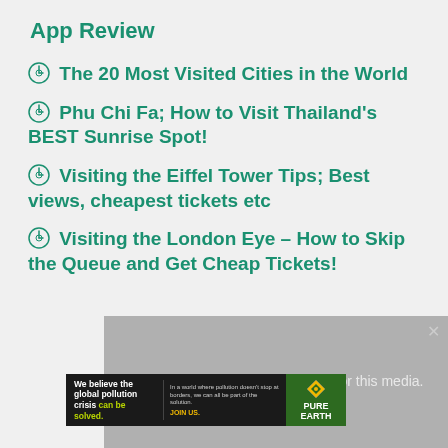App Review
The 20 Most Visited Cities in the World
Phu Chi Fa; How to Visit Thailand's BEST Sunrise Spot!
Visiting the Eiffel Tower Tips; Best views, cheapest tickets etc
Visiting the London Eye – How to Skip the Queue and Get Cheap Tickets!
[Figure (screenshot): Video player overlay showing 'No compatible source was found for this media.' message on a grey background]
[Figure (infographic): Pure Earth advertisement banner: 'We believe the global pollution crisis can be solved.' with JOIN US call to action and Pure Earth logo]